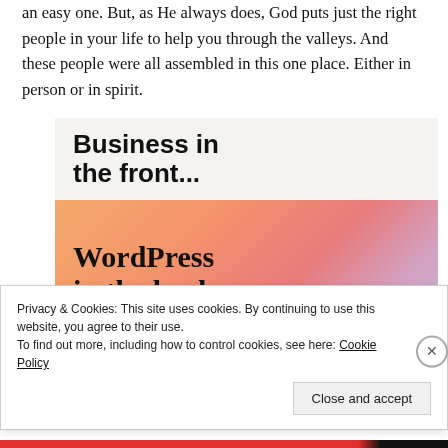an easy one. But, as He always does, God puts just the right people in your life to help you through the valleys. And these people were all assembled in this one place. Either in person or in spirit.
[Figure (screenshot): Advertisement image with two parts: top section on light gray background showing bold text 'Business in the front...' and bottom section on orange/pink gradient background showing bold text 'WordPress in the back.']
Privacy & Cookies: This site uses cookies. By continuing to use this website, you agree to their use. To find out more, including how to control cookies, see here: Cookie Policy
Close and accept